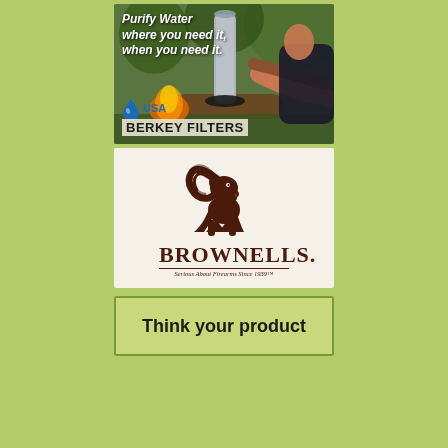[Figure (advertisement): USA Berkey Filters ad showing a man operating a metal water filter outdoors near a campfire. Text reads 'Purify Water where you need it, when you need it.' with USA Berkey Filters logo and water drop icon.]
[Figure (logo): Brownells advertisement on cream/off-white background featuring a bighorn ram logo above the text 'BROWNELLS.' and tagline 'Serious About Firearms Since 1939.']
[Figure (advertisement): Partial advertisement on a green/olive bordered background with text 'Think your product' visible at top.]